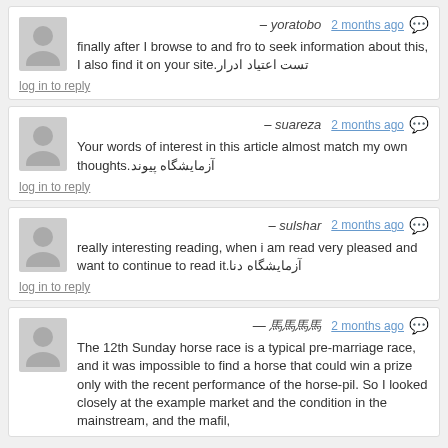– yoratobo  2 months ago
finally after I browse to and fro to seek information about this, I also find it on your site.تست اعتیاد ادرار
log in to reply
– suareza  2 months ago
Your words of interest in this article almost match my own thoughts.آزمایشگاه پیوند
log in to reply
– sulshar  2 months ago
really interesting reading, when i am read very pleased and want to continue to read it.آزمایشگاه دنا
log in to reply
– 馬馬馬馬  2 months ago
The 12th Sunday horse race is a typical pre-marriage race, and it was impossible to find a horse that could win a prize only with the recent performance of the horse-pil. So I looked closely at the example market and the condition in the mainstream, and the mafil, which had a bigger condition, had a better idea, but...